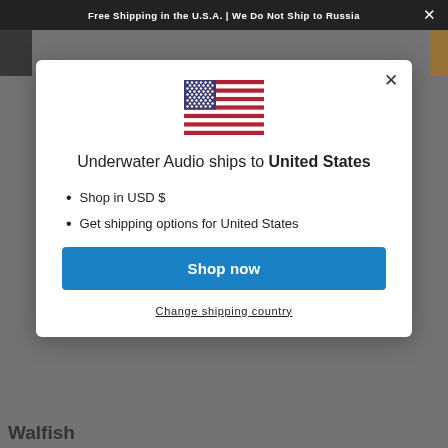Free Shipping in the U.S.A. | We Do Not Ship to Russia
[Figure (screenshot): Modal dialog on an e-commerce website. Contains a US flag icon, text 'Underwater Audio ships to United States', bullet points listing 'Shop in USD $' and 'Get shipping options for United States', a blue 'Shop now' button, and a 'Change shipping country' link.]
Underwater Audio ships to United States
Shop in USD $
Get shipping options for United States
Shop now
Change shipping country
Walfish